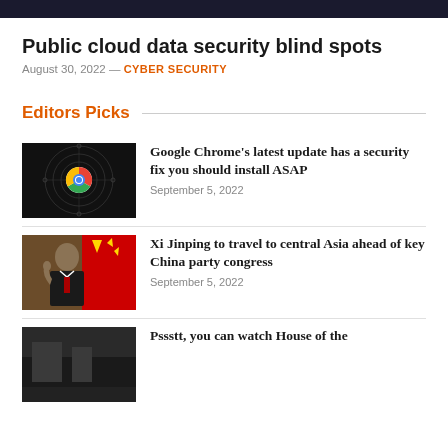Public cloud data security blind spots
August 30, 2022 — CYBER SECURITY
Editors Picks
[Figure (photo): Google Chrome logo on dark background with radar/target circles]
Google Chrome's latest update has a security fix you should install ASAP
September 5, 2022
[Figure (photo): Xi Jinping waving in front of red and yellow flags]
Xi Jinping to travel to central Asia ahead of key China party congress
September 5, 2022
[Figure (photo): Partial image for House of the article]
Pssstt, you can watch House of the